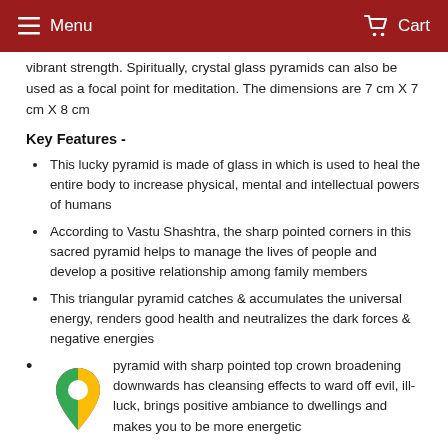Menu   Cart
vibrant strength. Spiritually, crystal glass pyramids can also be used as a focal point for meditation. The dimensions are 7 cm X 7 cm X 8 cm
Key Features -
This lucky pyramid is made of glass in which is used to heal the entire body to increase physical, mental and intellectual powers of humans
According to Vastu Shashtra, the sharp pointed corners in this sacred pyramid helps to manage the lives of people and develop a positive relationship among family members
This triangular pyramid catches & accumulates the universal energy, renders good health and neutralizes the dark forces & negative energies
pyramid with sharp pointed top crown broadening downwards has cleansing effects to ward off evil, ill-luck, brings positive ambiance to dwellings and makes you to be more energetic